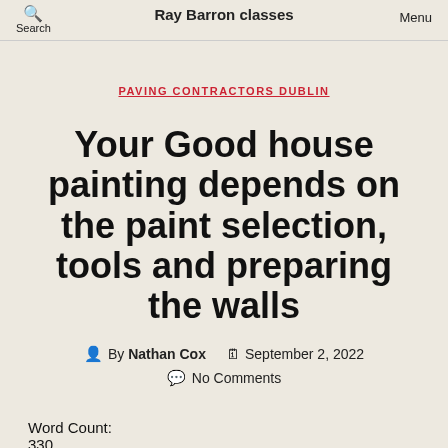Search  Ray Barron classes  Menu
PAVING CONTRACTORS DUBLIN
Your Good house painting depends on the paint selection, tools and preparing the walls
By Nathan Cox  September 2, 2022
No Comments
Word Count:
330